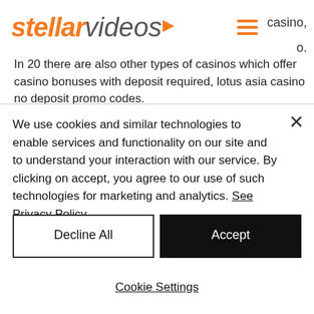stellar videos
casino, o.
In 20 there are also other types of casinos which offer casino bonuses with deposit required, lotus asia casino no deposit promo codes.
MEANING OF MEGA SYMBOLS. There is also a unique bonus symbol for each type, which multiplies your reward. For the Sahara
We use cookies and similar technologies to enable services and functionality on our site and to understand your interaction with our service. By clicking on accept, you agree to our use of such technologies for marketing and analytics. See Privacy Policy
Decline All
Accept
Cookie Settings